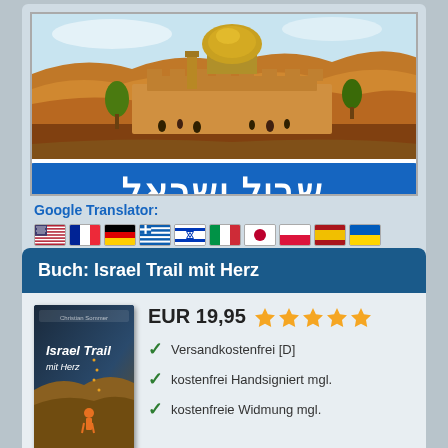[Figure (illustration): Illustrated scene of Jerusalem with the Dome of the Rock in orange/golden tones with a blue banner below showing Hebrew text (שביל ישראל - Israel Trail)]
Google Translator:
[Figure (infographic): Row of country flags: USA, France, Germany, Greece, Israel, Italy, Japan, Poland, Spain, Ukraine]
Buch: Israel Trail mit Herz
[Figure (photo): Book cover of 'Israel Trail mit Herz' by Christian Sommer]
EUR 19,95 ★★★★★
✓ Versandkostenfrei [D]
✓ kostenfrei Handsigniert mgl.
✓ kostenfreie Widmung mgl.